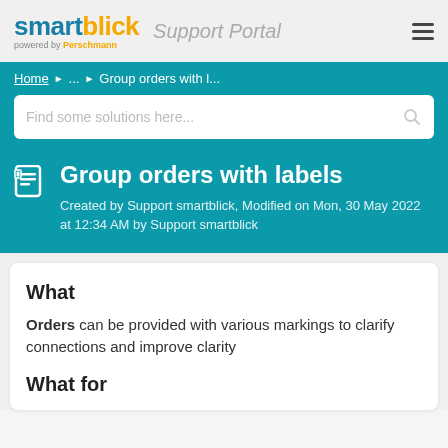smartblick Support Portal
Home › ... › Group orders with l...
Find some solutions here...
Group orders with labels
Created by Support smartblick, Modified on Mon, 30 May 2022 at 12:34 AM by Support smartblick
What
Orders can be provided with various markings to clarify connections and improve clarity
What for